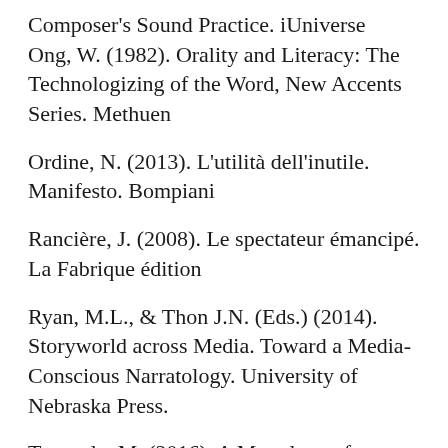Composer's Sound Practice. iUniverse
Ong, W. (1982). Orality and Literacy: The Technologizing of the Word, New Accents Series. Methuen
Ordine, N. (2013). L'utilità dell'inutile. Manifesto. Bompiani
Rancière, J. (2008). Le spectateur émancipé. La Fabrique édition
Ryan, M.L., & Thon J.N. (Eds.) (2014). Storyworld across Media. Toward a Media-Conscious Narratology. University of Nebraska Press.
Tuomola, M. (2016). A Monologue for Dialogue: Miniature Portrait of Storytelling in Social Design. in (edited by) Bertolotti, E., Daam, H. Piredda,F. Tassinari, V. (2016). Pearl Diver. The Designer as Storyteller. DESIS Philosophy Talks: storytelling and design for